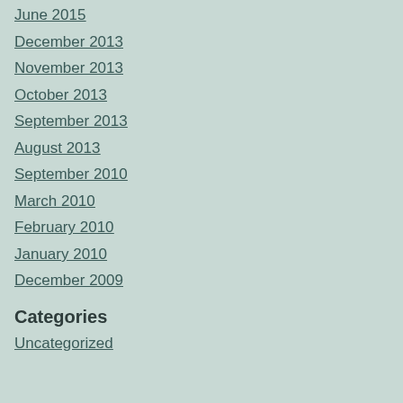June 2015
December 2013
November 2013
October 2013
September 2013
August 2013
September 2010
March 2010
February 2010
January 2010
December 2009
Categories
Uncategorized